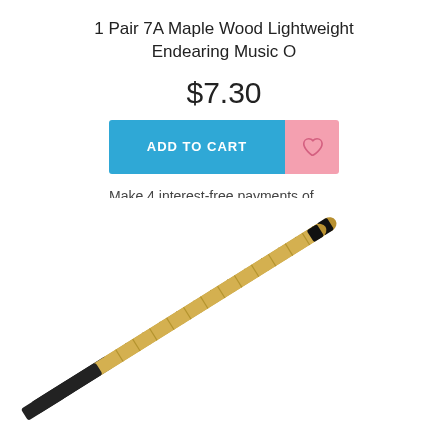1 Pair 7A Maple Wood Lightweight Endearing Music O
$7.30
[Figure (screenshot): Blue 'ADD TO CART' button with pink wishlist heart icon button]
Make 4 interest-free payments of $1.82 fortnightly and receive your order now.
[Figure (photo): Two drum rods/multi-rods with gold colored wood bundles and black wrapped handles, photographed on white background]